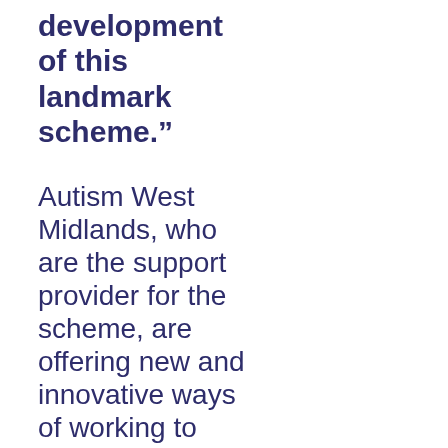development of this landmark scheme.”
Autism West Midlands, who are the support provider for the scheme, are offering new and innovative ways of working to provide support that is person centred and focuses on empowering individuals